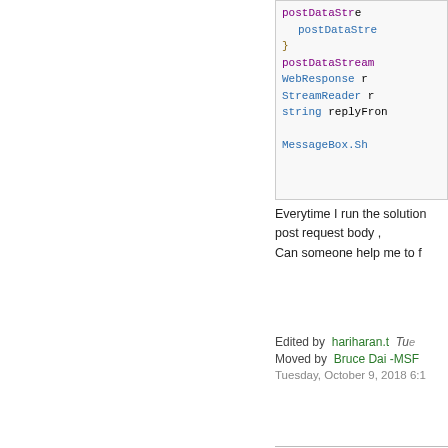[Figure (screenshot): Code snippet showing C# code with postDataStream, WebResponse, StreamReader, string, and MessageBox.Show calls, partially cropped on the right]
Everytime I run the solution post request body , Can someone help me to f
Edited by hariharan.t Tue
Moved by Bruce Dai -MSF
Tuesday, October 9, 2018 6:1
Answers